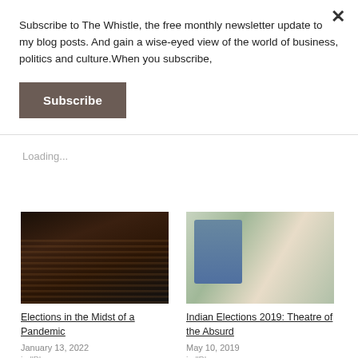Subscribe to The Whistle, the free monthly newsletter update to my blog posts. And gain a wise-eyed view of the world of business, politics and culture.When you subscribe,
Subscribe
Loading...
[Figure (photo): Crowd of people with hands raised, dark background]
Elections in the Midst of a Pandemic
January 13, 2022
[Figure (photo): Young woman smiling holding paper at what appears to be an election polling station, people in background]
Indian Elections 2019: Theatre of the Absurd
May 10, 2019